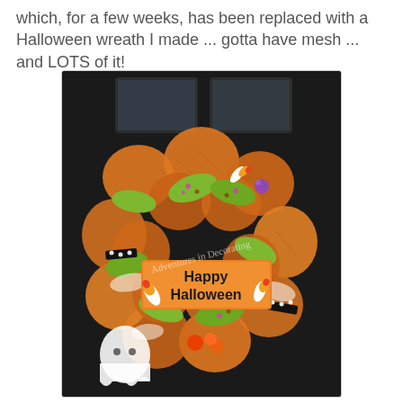which, for a few weeks, has been replaced with a Halloween wreath I made ... gotta have mesh ... and LOTS of it!
[Figure (photo): A colorful Halloween mesh wreath hanging on a dark door. The wreath is made of orange deco mesh with green polka-dot ribbon, black and white polka-dot ribbon, white sheer ribbon, and features a central orange sign reading 'Happy Halloween' in black text. Decorations include candy corn, a ghost figure, and orange ornaments. A watermark reads 'Adventures in Decorating'.]